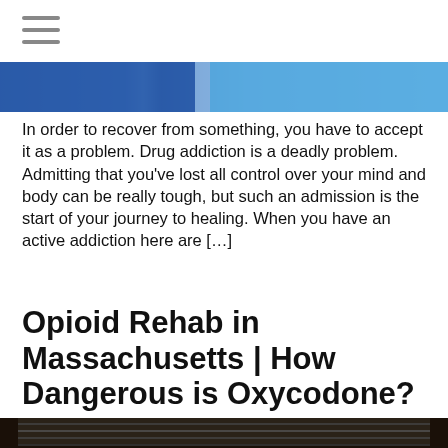≡
[Figure (illustration): Blue gradient banner header image with darker blue on the left and lighter blue on the right]
In order to recover from something, you have to accept it as a problem. Drug addiction is a deadly problem. Admitting that you've lost all control over your mind and body can be really tough, but such an admission is the start of your journey to healing. When you have an active addiction here are […]
Opioid Rehab in Massachusetts | How Dangerous is Oxycodone?
[Figure (photo): Photograph showing stairs or steps going upward, dark framing around the image, appears to be an interior or exterior staircase]